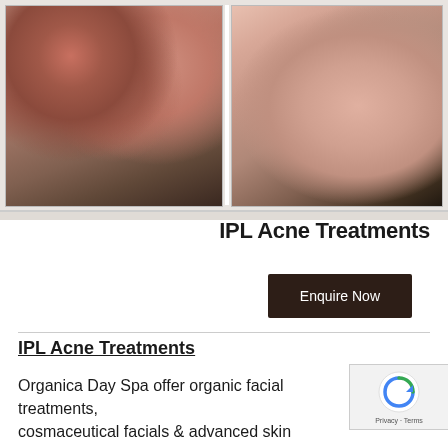[Figure (photo): Before and after comparison photos of a person's face/cheek area showing acne treatment results. Left photo shows skin with visible redness and acne lesions; right photo shows clearer skin after treatment. Both show the ear area of a patient.]
IPL Acne Treatments
Enquire Now
IPL Acne Treatments
Organica Day Spa offer organic facial treatments, cosmaceutical facials & advanced skin treatments & facials